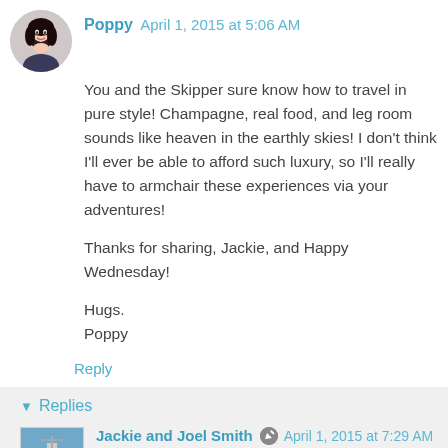[Figure (photo): Avatar photo of Poppy, a woman with dark hair]
Poppy April 1, 2015 at 5:06 AM
You and the Skipper sure know how to travel in pure style! Champagne, real food, and leg room sounds like heaven in the earthly skies! I don't think I'll ever be able to afford such luxury, so I'll really have to armchair these experiences via your adventures!

Thanks for sharing, Jackie, and Happy Wednesday!

Hugs.
Poppy
Reply
Replies
[Figure (photo): Avatar photo of Jackie and Joel Smith, showing a boat/ship]
Jackie and Joel Smith April 1, 2015 at 7:29 AM
Just save those airline points, Poppy! It can happen! Actually if the plane gets up, stays up, and comes down when and where it is supposed to with little turbulence in between, I don't really